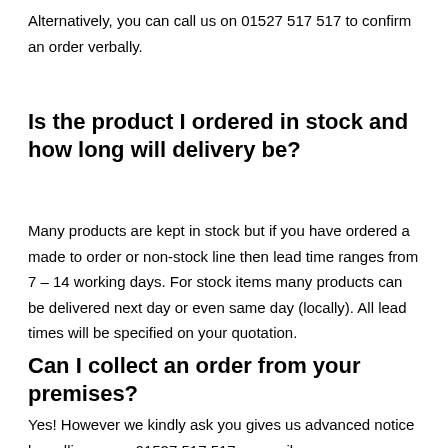Alternatively, you can call us on 01527 517 517 to confirm an order verbally.
Is the product I ordered in stock and how long will delivery be?
Many products are kept in stock but if you have ordered a made to order or non-stock line then lead time ranges from 7 – 14 working days. For stock items many products can be delivered next day or even same day (locally). All lead times will be specified on your quotation.
Can I collect an order from your premises?
Yes! However we kindly ask you gives us advanced notice by calling us on 01527 517 517 or email